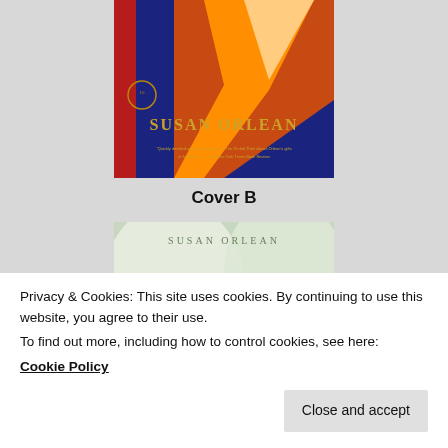[Figure (photo): Top portion of book cover A — The Orchid Thief by Susan Orlean. Blue background with orange abstract shapes, author name 'SUSAN ORLEAN' in gold, review quotes at bottom.]
Cover B
[Figure (photo): Book cover B — The Orchid Thief by Susan Orlean. Shows soft-focus white orchid petals with 'SUSAN ORLEAN' at top and 'ORCHID' partially visible at bottom.]
Privacy & Cookies: This site uses cookies. By continuing to use this website, you agree to their use.
To find out more, including how to control cookies, see here:
Cookie Policy
Close and accept